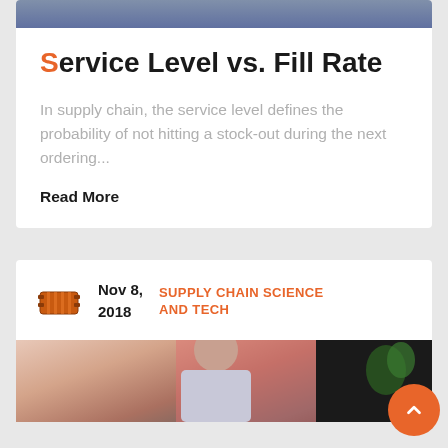[Figure (photo): Top portion of a person in a suit jacket, cropped photo at the top of the card]
Service Level vs. Fill Rate
In supply chain, the service level defines the probability of not hitting a stock-out during the next ordering...
Read More
Nov 8, 2018   SUPPLY CHAIN SCIENCE AND TECH
[Figure (photo): Photo of a man speaking, with a plant and pink/dark background visible]